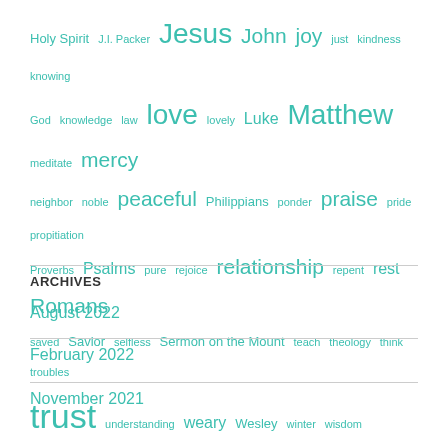Holy Spirit J.I. Packer Jesus John joy just kindness knowing God knowledge law love lovely Luke Matthew meditate mercy neighbor noble peaceful Philippians ponder praise pride propitiation Proverbs Psalms pure rejoice relationship repent rest Romans saved Savior selfless Sermon on the Mount teach theology think troubles trust understanding weary Wesley winter wisdom
ARCHIVES
August 2022
February 2022
November 2021